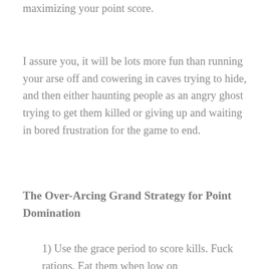You will be playing a new game of maximizing your point score.
I assure you, it will be lots more fun than running your arse off and cowering in caves trying to hide, and then either haunting people as an angry ghost trying to get them killed or giving up and waiting in bored frustration for the game to end.
The Over-Arcing Grand Strategy for Point Domination
1) Use the grace period to score kills. Fuck rations. Eat them when low on